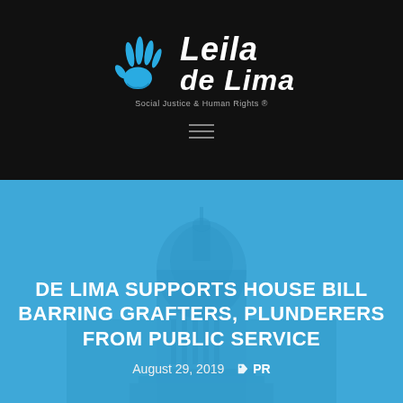[Figure (logo): Leila de Lima logo with blue hand icon and text 'Leila de Lima' and tagline 'Social Justice & Human Rights']
DE LIMA SUPPORTS HOUSE BILL BARRING GRAFTERS, PLUNDERERS FROM PUBLIC SERVICE
August 29, 2019   PR